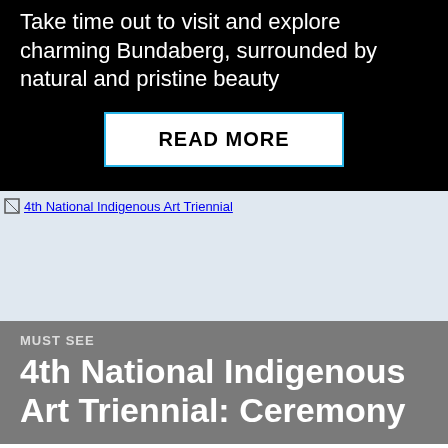Take time out to visit and explore charming Bundaberg, surrounded by natural and pristine beauty
READ MORE
[Figure (photo): Broken image placeholder for 4th National Indigenous Art Triennial]
MUST SEE
4th National Indigenous Art Triennial: Ceremony
The National Gallery of Australia touring exhibition showcases stunning new work by First Nations artists from across the country.